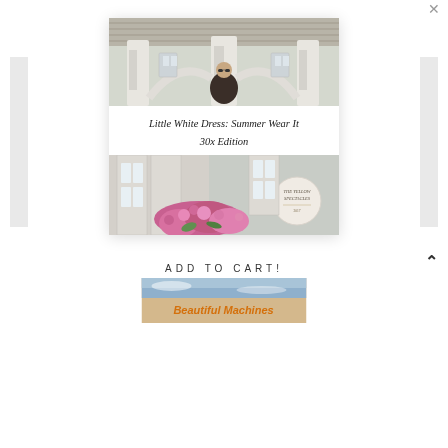[Figure (photo): Blog post card showing a white wooden pavilion/gazebo structure with a woman visible underneath in the top photo, and a lower photo showing white French doors with colorful pink flowers and a circular brand logo overlay reading 'The Yellow Spectacles']
Little White Dress: Summer Wear It 30x Edition
ADD TO CART!
[Figure (photo): Partial image at bottom showing orange/warm toned sky with text 'Beautiful Machines' in orange]